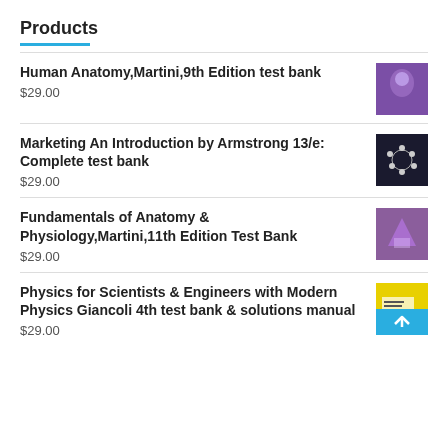Products
Human Anatomy,Martini,9th Edition test bank
$29.00
Marketing An Introduction by Armstrong 13/e: Complete test bank
$29.00
Fundamentals of Anatomy & Physiology,Martini,11th Edition Test Bank
$29.00
Physics for Scientists & Engineers with Modern Physics Giancoli 4th test bank & solutions manual
$29.00